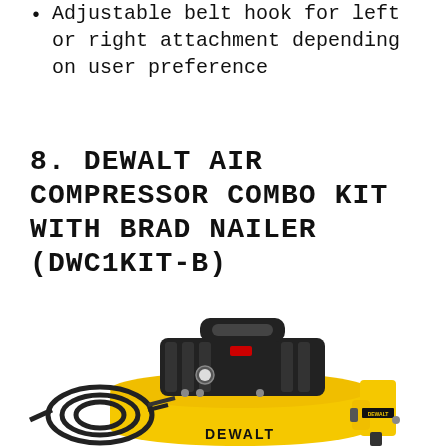Adjustable belt hook for left or right attachment depending on user preference
8. DEWALT AIR COMPRESSOR COMBO KIT WITH BRAD NAILER (DWC1KIT-B)
[Figure (photo): Photo of DEWALT Air Compressor Combo Kit with Brad Nailer (DWC1KIT-B) — yellow pancake air compressor with black motor unit on top, black hose coiled to the left, and a yellow brad nailer on the right.]